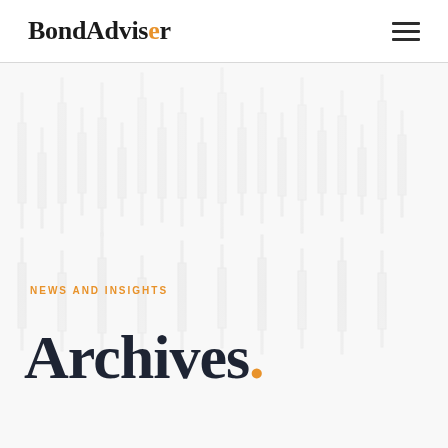BondAdviser
[Figure (illustration): Faded candlestick financial chart background image with muted gray/white tones showing stock market price bars]
NEWS AND INSIGHTS
Archives.